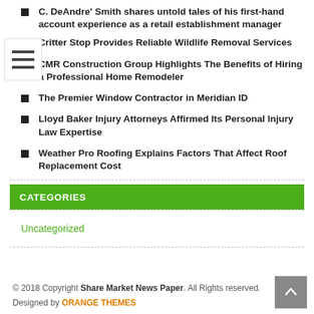C. DeAndre' Smith shares untold tales of his first-hand account experience as a retail establishment manager
Critter Stop Provides Reliable Wildlife Removal Services
CMR Construction Group Highlights The Benefits of Hiring a Professional Home Remodeler
The Premier Window Contractor in Meridian ID
Lloyd Baker Injury Attorneys Affirmed Its Personal Injury Law Expertise
Weather Pro Roofing Explains Factors That Affect Roof Replacement Cost
CATEGORIES
Uncategorized
© 2018 Copyright Share Market News Paper. All Rights reserved. Designed by ORANGE THEMES